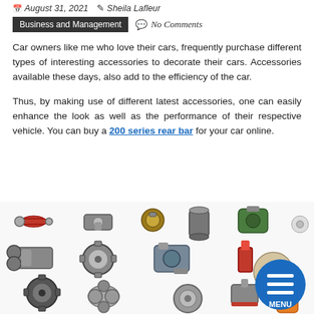August 31, 2021  Sheila Lafleur
Business and Management   No Comments
Car owners like me who love their cars, frequently purchase different types of interesting accessories to decorate their cars. Accessories available these days, also add to the efficiency of the car.
Thus, by making use of different latest accessories, one can easily enhance the look as well as the performance of their respective vehicle. You can buy a 200 series rear bar for your car online.
[Figure (photo): Collection of various car parts and accessories including brake drums, gears, cylinders, filters, alternators, and other mechanical components spread on a white background. A circular blue menu button with three white horizontal bars and the word MENU is overlaid in the bottom right corner.]